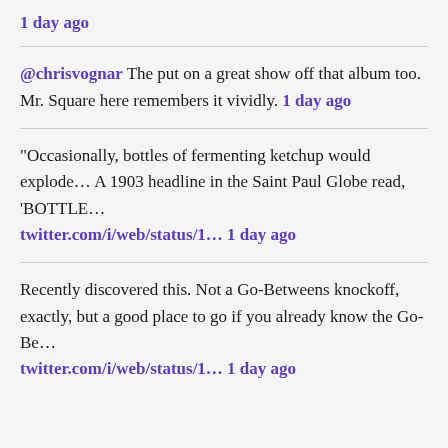1 day ago
@chrisvognar The put on a great show off that album too. Mr. Square here remembers it vividly. 1 day ago
"Occasionally, bottles of fermenting ketchup would explode... A 1903 headline in the Saint Paul Globe read, 'BOTTLE... twitter.com/i/web/status/1... 1 day ago
Recently discovered this. Not a Go-Betweens knockoff, exactly, but a good place to go if you already know the Go-Be... twitter.com/i/web/status/1... 1 day ago